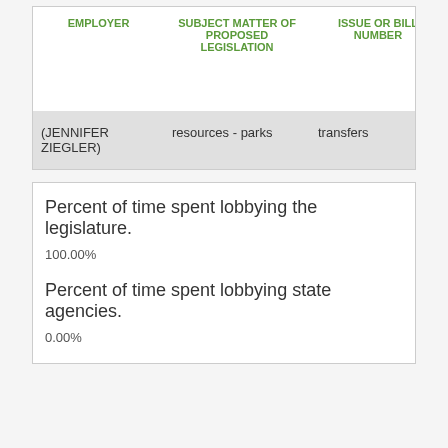| EMPLOYER | SUBJECT MATTER OF PROPOSED LEGISLATION | ISSUE OR BILL NUMBER | PERSONS, LEGISLAT... COMMITTEE OR STATE AGENCY CONSIDER... THE MATT... |
| --- | --- | --- | --- |
| (JENNIFER ZIEGLER) | resources - parks | transfers |  |
Percent of time spent lobbying the legislature.
100.00%
Percent of time spent lobbying state agencies.
0.00%